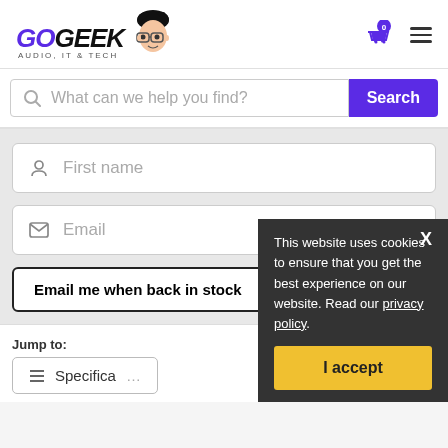[Figure (logo): GoGeek Audio, IT & Tech logo with cartoon geek face illustration]
What can we help you find?
First name
Email
Email me when back in stock
Jump to:
Specifications
This website uses cookies to ensure that you get the best experience on our website. Read our privacy policy.
I accept